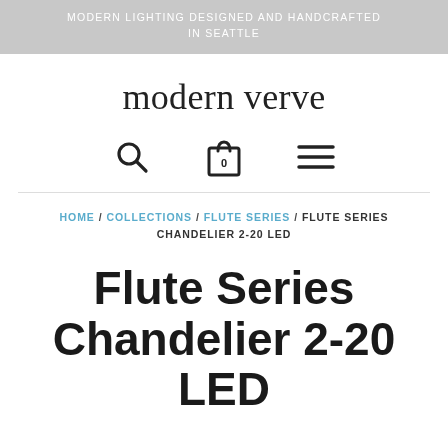MODERN LIGHTING DESIGNED AND HANDCRAFTED IN SEATTLE
modern verve
[Figure (infographic): Navigation icons: search (magnifying glass), shopping bag with 0, and hamburger menu lines]
HOME / COLLECTIONS / FLUTE SERIES / FLUTE SERIES CHANDELIER 2-20 LED
Flute Series Chandelier 2-20 LED